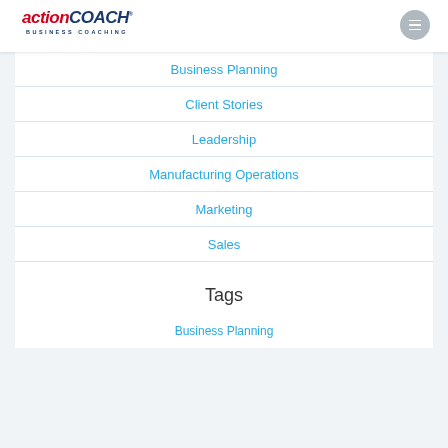ActionCOACH BUSINESS COACHING
Business Planning
Client Stories
Leadership
Manufacturing Operations
Marketing
Sales
Teams
Uncategorized
Tags
Business Planning